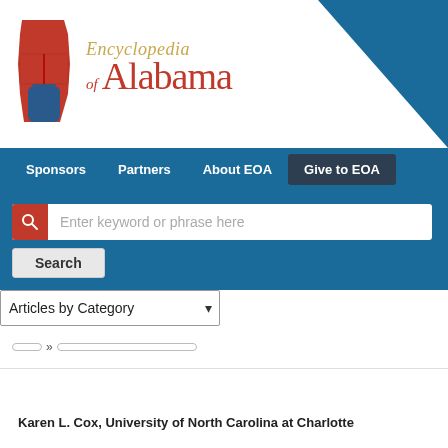[Figure (logo): Encyclopedia of Alabama logo with red Alabama state shape and text]
Sponsors | Partners | About EOA | Give to EOA
Enter keyword or phrase here
Search
Articles by Category
Karen L. Cox, University of North Carolina at Charlotte